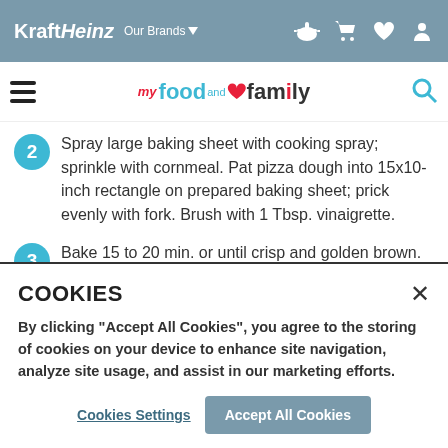Kraft Heinz — Our Brands | my food and family
2 — Spray large baking sheet with cooking spray; sprinkle with cornmeal. Pat pizza dough into 15x10-inch rectangle on prepared baking sheet; prick evenly with fork. Brush with 1 Tbsp. vinaigrette.
3 — Bake 15 to 20 min. or until crisp and golden brown. Cool 10 min. Meanwhile, reserve 1 tsp. herbs. Mix remaining herbs with cream cheese, vinaigrette and 1 Tbsp...
COOKIES
By clicking "Accept All Cookies", you agree to the storing of cookies on your device to enhance site navigation, analyze site usage, and assist in our marketing efforts.
Cookies Settings | Accept All Cookies